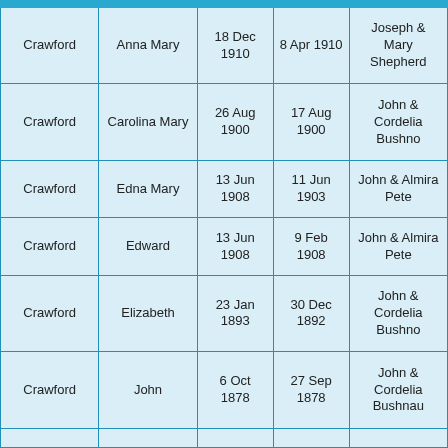| Surname | First Name | Baptism Date | Birth Date | Parents |
| --- | --- | --- | --- | --- |
| Crawford | Anna Mary | 18 Dec 1910 | 8 Apr 1910 | Joseph & Mary Shepherd |
| Crawford | Carolina Mary | 26 Aug 1900 | 17 Aug 1900 | John & Cordelia Bushno |
| Crawford | Edna Mary | 13 Jun 1908 | 11 Jun 1903 | John & Almira Pete |
| Crawford | Edward | 13 Jun 1908 | 9 Feb 1908 | John & Almira Pete |
| Crawford | Elizabeth | 23 Jan 1893 | 30 Dec 1892 | John & Cordelia Bushno |
| Crawford | John | 6 Oct 1878 | 27 Sep 1878 | John & Cordelia Bushnau |